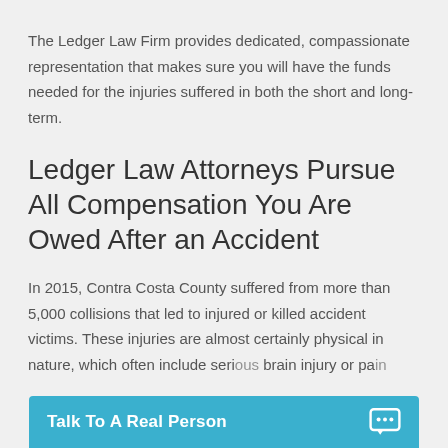The Ledger Law Firm provides dedicated, compassionate representation that makes sure you will have the funds needed for the injuries suffered in both the short and long-term.
Ledger Law Attorneys Pursue All Compensation You Are Owed After an Accident
In 2015, Contra Costa County suffered from more than 5,000 collisions that led to injured or killed accident victims. These injuries are almost certainly physical in nature, which often include seri... brain injury or pa...